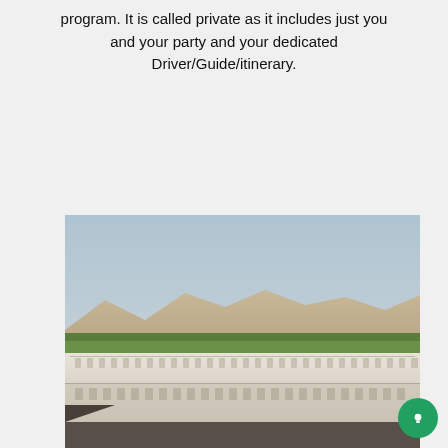program. It is called private as it includes just you and your party and your dedicated Driver/Guide/itinerary.
[Figure (photo): A Nile river cruise ship with multiple decks docked along a riverbank with palm trees in the foreground and desert mountains in the background under a hazy sky.]